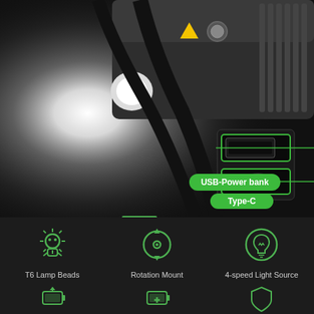[Figure (photo): Product photo of a bicycle headlight with USB-A power bank output port and Type-C charging port highlighted with green outlines and green pill-shaped labels reading 'USB-Power bank' and 'Type-C'. The light emits a bright white beam.]
[Figure (infographic): Dark background feature section showing three icons with labels: T6 Lamp Beads (sun/robot icon), Rotation Mount (circular arrows icon), 4-speed Light Source (lightbulb in circle icon), and partial bottom row with battery icons and shield icon.]